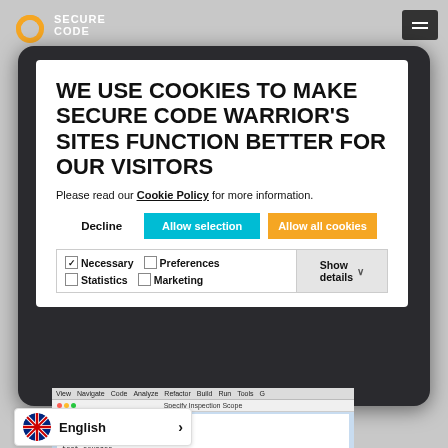SECURE CODE (logo)
WE USE COOKIES TO MAKE SECURE CODE WARRIOR'S SITES FUNCTION BETTER FOR OUR VISITORS
Please read our Cookie Policy for more information.
Decline | Allow selection | Allow all cookies
✓ Necessary  □ Preferences  □ Statistics  □ Marketing  | Show details ∨
[Figure (screenshot): IDE screenshot showing 'Specify Inspection Scope' dialog with menu bar (View, Navigate, Code, Analyze, Refactor, Build, Run, Tools, G) and inspection scope options including 'Whole project' radio button]
English >